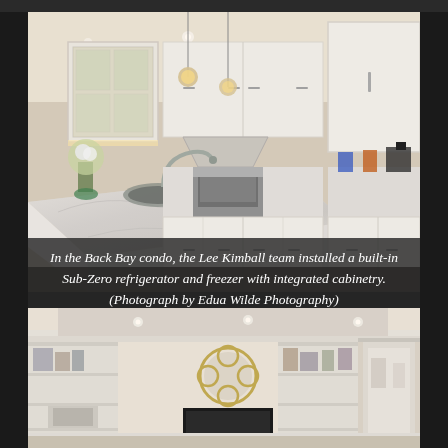[Figure (photo): Interior photo of a white kitchen with marble countertops, white shaker cabinets, stainless steel appliances including a range with hood, built-in Sub-Zero refrigerator with integrated cabinetry, glass-front upper cabinets, pendant lighting, and a large island with sink and fruit bowl.]
In the Back Bay condo, the Lee Kimball team installed a built-in Sub-Zero refrigerator and freezer with integrated cabinetry. (Photograph by Edua Wilde Photography)
[Figure (photo): Interior photo of a bright living room with cream/white walls, built-in shelving units flanking a fireplace, a decorative quatrefoil mirror on the wall, recessed lighting in the ceiling with crown molding, and a hallway leading to additional rooms. Styled with books, decorative objects, and a TV.]